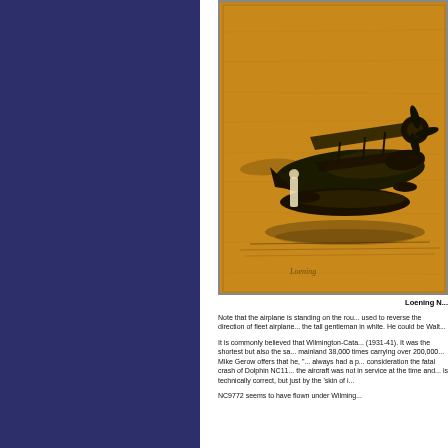[Figure (illustration): Sepia/amber-toned illustration of a Loening amphibian aircraft on the ground, with a figure dressed in white standing nearby. The image has a woodcut or stamp-like artistic quality.]
Loening N...
Note that the airplane is standing on the rou... used to reverse the direction of fleet airplane... the tall gentleman in white. He could be Walt...
It is commonly believed that Wilmington-Cata... (1931-41). It was the shortest but also the sa... mainland 38,000 times carrying over 200,000... Mike Gerow offers that he, "... always had a p... consideration the fatal crash of Dolphin NC11... the aircraft was not in service at the time and... is technically correct, but just by the 'skin of i...
NC9772 seems to have flown under Wilming...